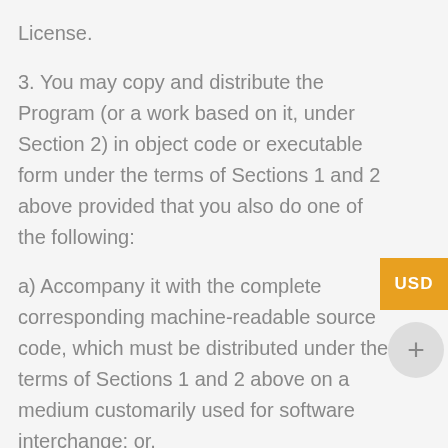License.
3. You may copy and distribute the Program (or a work based on it, under Section 2) in object code or executable form under the terms of Sections 1 and 2 above provided that you also do one of the following:
a) Accompany it with the complete corresponding machine-readable source code, which must be distributed under the terms of Sections 1 and 2 above on a medium customarily used for software interchange; or,
b) Accompany it with a written offer, valid for at least three years, to give any third party, for a charge no more than your cost of physically performing source distribution, a complete machine-readable copy of the corresponding